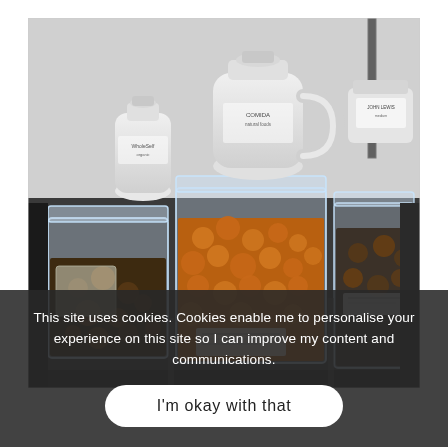[Figure (photo): A photo of clear acrylic bulk food dispensers/containers on shelving in a store. The containers hold nuts and other snack items. White plastic bottles/jugs sit on top of the containers. Price tags are visible inside the containers.]
This site uses cookies. Cookies enable me to personalise your experience on this site so I can improve my content and communications.
I'm okay with that
containers- repurposing at its finest!
Free bottles and bags, just in case you forgot your own or didn't quite have enough. The store